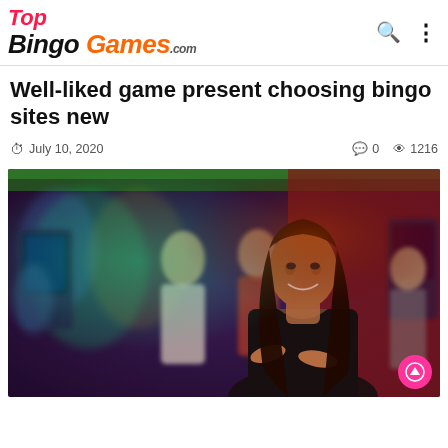TopBingoGames.com
Well-liked game present choosing bingo sites new
July 10, 2020   0   1216
[Figure (photo): Woman in black outfit smiling in a casino environment with blurred people and colorful lights in the background]